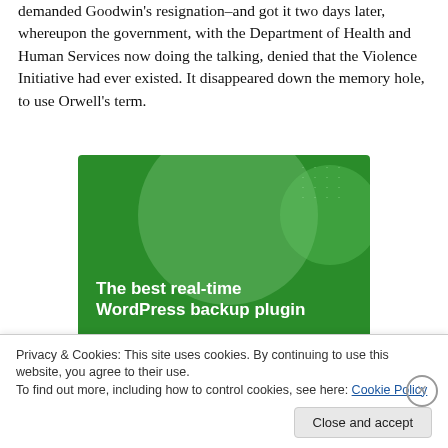demanded Goodwin's resignation–and got it two days later, whereupon the government, with the Department of Health and Human Services now doing the talking, denied that the Violence Initiative had ever existed. It disappeared down the memory hole, to use Orwell's term.
[Figure (advertisement): Green advertisement banner reading 'The best real-time WordPress backup plugin' with circular decorative shapes]
Privacy & Cookies: This site uses cookies. By continuing to use this website, you agree to their use.
To find out more, including how to control cookies, see here: Cookie Policy
Close and accept